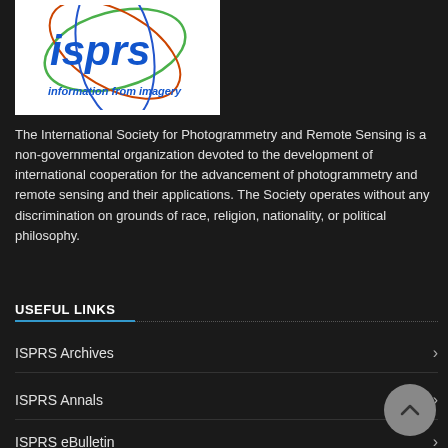[Figure (logo): ISPRS logo with blue stylized lettering 'isprs', orbital ellipses in green, red, and blue, and tagline 'information from imagery']
The International Society for Photogrammetry and Remote Sensing is a non-governmental organization devoted to the development of international cooperation for the advancement of photogrammetry and remote sensing and their applications. The Society operates without any discrimination on grounds of race, religion, nationality, or political philosophy.
USEFUL LINKS
ISPRS Archives
ISPRS Annals
ISPRS eBulletin